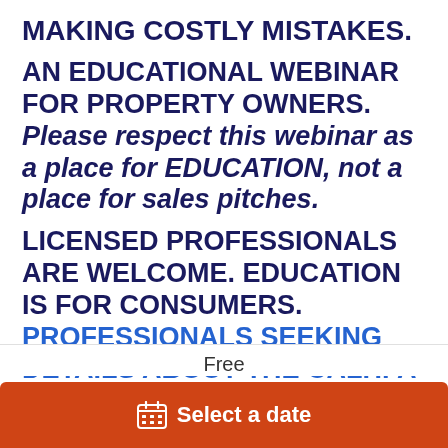MAKING COSTLY MISTAKES.
AN EDUCATIONAL WEBINAR FOR PROPERTY OWNERS. Please respect this webinar as a place for EDUCATION, not a place for sales pitches.
LICENSED PROFESSIONALS ARE WELCOME. EDUCATION IS FOR CONSUMERS. PROFESSIONALS SEEKING DETAILS ABOUT THE CALHFA ADU GRANT PROGRAM CAN CLICK HERE. PROFESSIONAL EDUCATIONAL VIDEOS FOUND HERE.
Free
Select a date